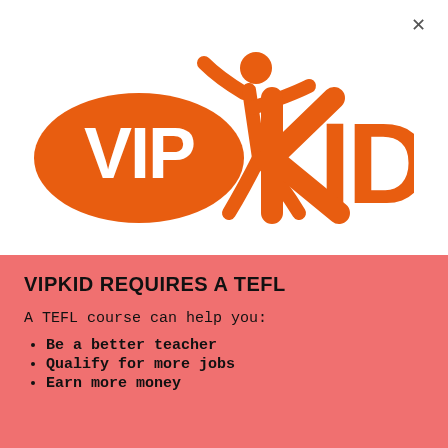[Figure (logo): VIPKID logo in orange with a stylized person figure as the letter K]
VIPKID REQUIRES A TEFL
A TEFL course can help you:
Be a better teacher
Qualify for more jobs
Earn more money